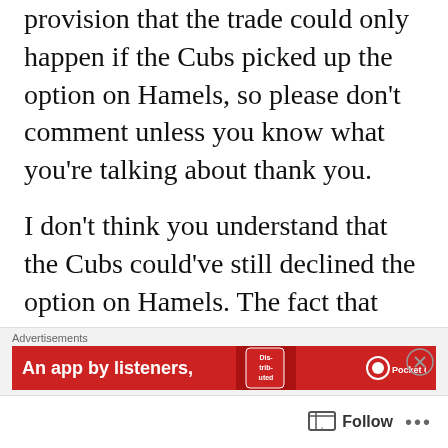provision that the trade could only happen if the Cubs picked up the option on Hamels, so please don't comment unless you know what you're talking about thank you.
I don't think you understand that the Cubs could've still declined the option on Hamels. The fact that they also get Texas to pay for declining it is an added bonus.
[Figure (screenshot): Advertisement banner: red background with 'An app by listeners,' text and Pocket Casts logo]
Follow ...